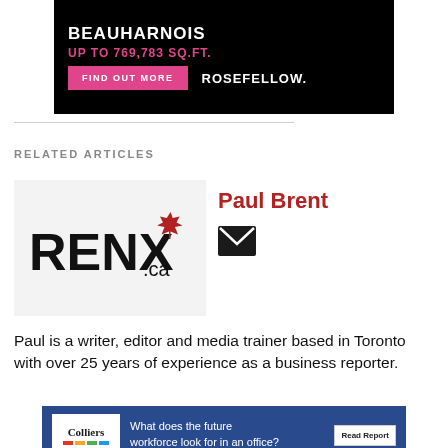[Figure (advertisement): Black background ad for Beauharnois, up to 769,783 sq.ft., with pink Find Out More button and Rosefellow branding]
RELATED ARTICLES
[Figure (logo): RENX.ca logo with red maple leaf]
Paul Brent
Paul is a writer, editor and media trainer based in Toronto with over 25 years of experience as a business reporter.
[Figure (advertisement): Colliers ad: What does the future workforce look for in an office? Read Report button]